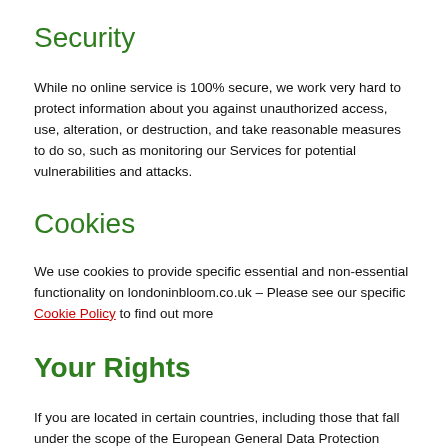Security
While no online service is 100% secure, we work very hard to protect information about you against unauthorized access, use, alteration, or destruction, and take reasonable measures to do so, such as monitoring our Services for potential vulnerabilities and attacks.
Cookies
We use cookies to provide specific essential and non-essential functionality on londoninbloom.co.uk – Please see our specific Cookie Policy to find out more
Your Rights
If you are located in certain countries, including those that fall under the scope of the European General Data Protection